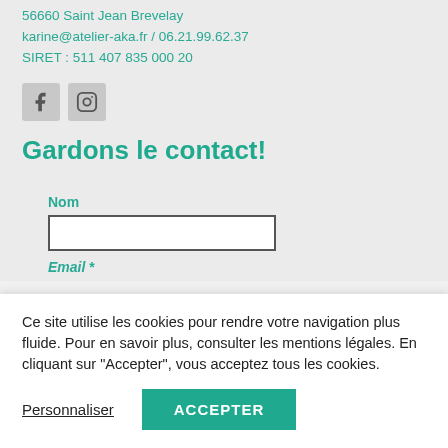56660 Saint Jean Brevelay
karine@atelier-aka.fr / 06.21.99.62.37
SIRET : 511 407 835 000 20
[Figure (illustration): Two social media icons: Facebook (f) and Instagram (camera), rendered as square grey icon buttons]
Gardons le contact!
Nom
Email *
Ce site utilise les cookies pour rendre votre navigation plus fluide. Pour en savoir plus, consulter les mentions légales. En cliquant sur "Accepter", vous acceptez tous les cookies.
Personnaliser
ACCEPTER